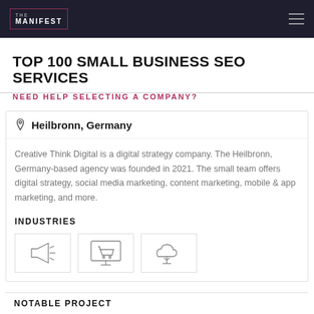THE MANIFEST
TOP 100 SMALL BUSINESS SEO SERVICES
NEED HELP SELECTING A COMPANY?
Heilbronn, Germany
Creative Think Digital is a digital strategy company. The Heilbronn, Germany-based agency was founded in 2021. The small team offers digital strategy, social media marketing, content marketing, mobile & app marketing, and more.
INDUSTRIES
[Figure (illustration): Three industry icons: megaphone/advertising, shopping cart on screen/ecommerce, cloud with tree/technology]
NOTABLE PROJECT